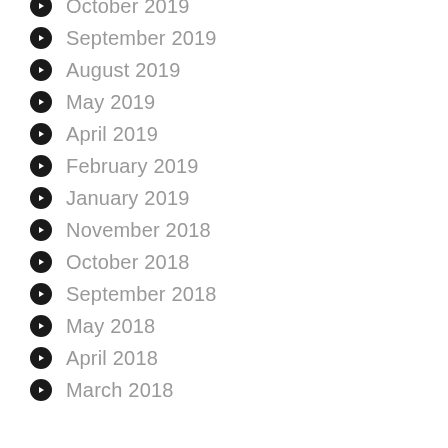October 2019
September 2019
August 2019
May 2019
April 2019
February 2019
January 2019
November 2018
October 2018
September 2018
May 2018
April 2018
March 2018